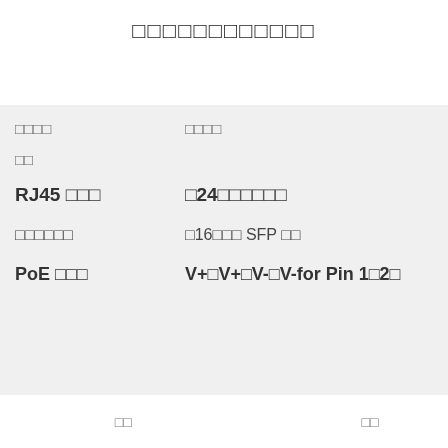□□□□□□□□□□□□
| □□□□ | □□□□ |
| --- | --- |
| □□ |  |
| RJ45 □□□ | □24□□□□□□ |
| □□□□□□ | □16□□□ SFP □□ |
| PoE □□□ | V+□V+□V-□V-for Pin 1□2□ |
[Figure (photo): Blue panel with Japanese/CJK label text, and dark panel below with circular element]
□□　　□□　　□□